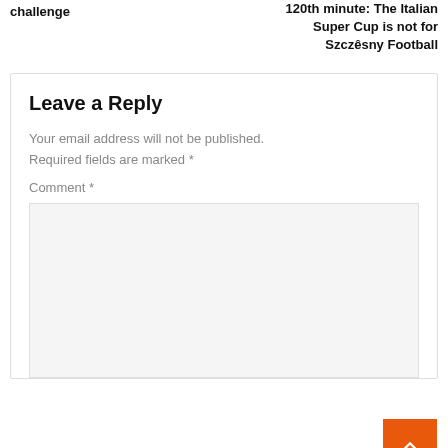challenge
120th minute: The Italian Super Cup is not for Szczêsny Football
Leave a Reply
Your email address will not be published. Required fields are marked *
Comment *